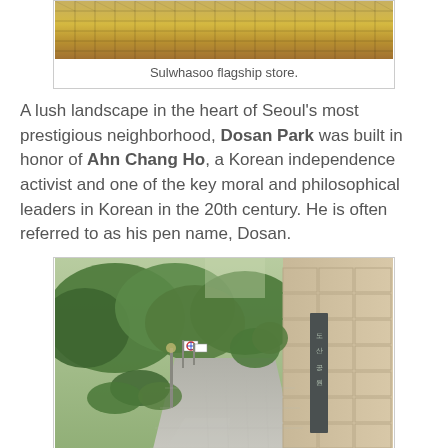[Figure (photo): Top portion of Sulwhasoo flagship store exterior showing golden grid/lattice facade]
Sulwhasoo flagship store.
A lush landscape in the heart of Seoul's most prestigious neighborhood, Dosan Park was built in honor of Ahn Chang Ho, a Korean independence activist and one of the key moral and philosophical leaders in Korean in the 20th century. He is often referred to as his pen name, Dosan.
[Figure (photo): Entrance to Dosan Park showing a wide stone-paved pathway lined with trees and a stone pillar with Korean inscription on the right, Korean flags visible in the background]
Dosan Park, finally!
Established in 1973, this park spans nearly 30,000 square